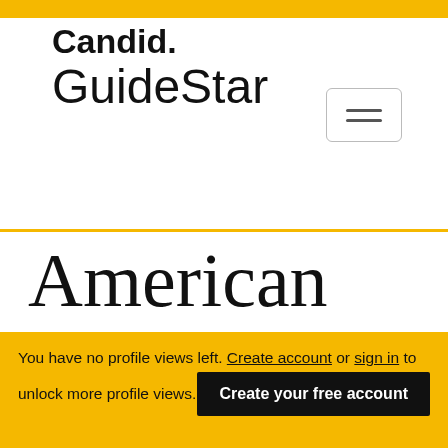Candid. GuideStar
American Federation for Aging Research (AFAR) I
You have no profile views left. Create account or sign in to unlock more profile views.